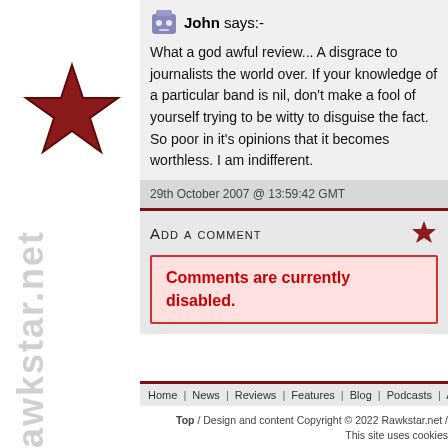[Figure (logo): Red star logo for rawkstar.net with site name watermark in grey rotated vertically]
John says:-
What a god awful review... A disgrace to journalists the world over. If your knowledge of a particular band is nil, don't make a fool of yourself trying to be witty to disguise the fact. So poor in it's opinions that it becomes worthless. I am indifferent.
29th October 2007 @ 13:59:42 GMT
Add a comment
Comments are currently disabled.
Home | News | Reviews | Features | Blog | Podcasts | About | Con...
Top / Design and content Copyright © 2022 Rawkstar.net / This site uses cookies